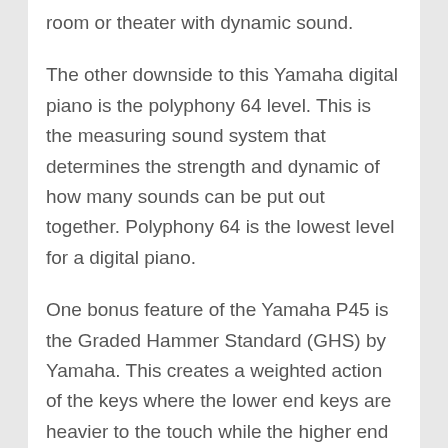room or theater with dynamic sound.
The other downside to this Yamaha digital piano is the polyphony 64 level. This is the measuring sound system that determines the strength and dynamic of how many sounds can be put out together. Polyphony 64 is the lowest level for a digital piano.
One bonus feature of the Yamaha P45 is the Graded Hammer Standard (GHS) by Yamaha. This creates a weighted action of the keys where the lower end keys are heavier to the touch while the higher end keys are lighter just like the hammers of a real acoustic grand piano. This type of…